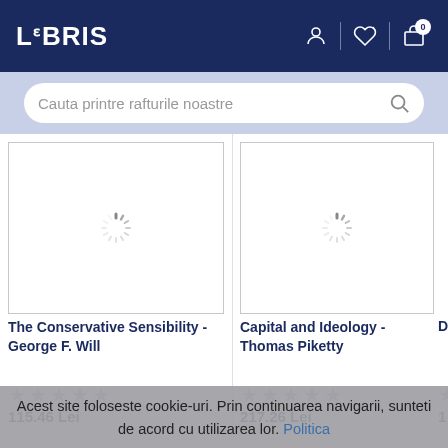LIBRIS
Cauta printre rafturile noastre
The Conservative Sensibility - George F. Will
Capital and Ideology - Thomas Piketty
D
115.46 Lei
217.26 Lei
1
Acest site foloseste cookie-uri. Prin continuarea navigarii, sunteti de acord cu utilizarea lor. Politica